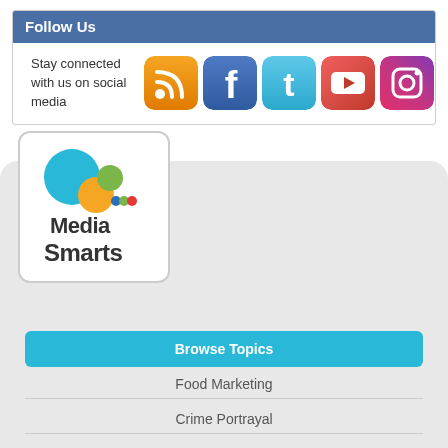Follow Us
Stay connected with us on social media
[Figure (logo): Five social media icons: RSS feed (orange), Facebook (blue), Twitter (light blue), YouTube (red/white), Instagram (gradient)]
[Figure (logo): MediaSmarts logo with colorful circles and bold text]
Browse Topics
Food Marketing
Crime Portrayal
Excessive Internet Use
Violence
Diversity in Media